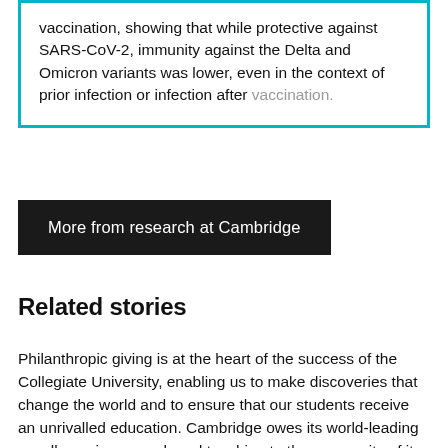vaccination, showing that while protective against SARS-CoV-2, immunity against the Delta and Omicron variants was lower, even in the context of prior infection or infection after vaccination.
More from research at Cambridge
Related stories
Philanthropic giving is at the heart of the success of the Collegiate University, enabling us to make discoveries that change the world and to ensure that our students receive an unrivalled education. Cambridge owes its world-leading excellence in research and teaching to the generosity of its supporters. Our history is